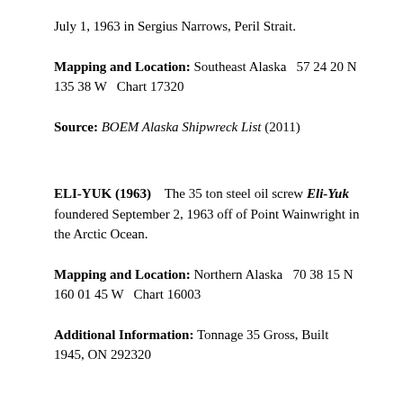July 1, 1963 in Sergius Narrows, Peril Strait.
Mapping and Location: Southeast Alaska  57 24 20 N  135 38 W  Chart 17320
Source: BOEM Alaska Shipwreck List (2011)
ELI-YUK (1963)    The 35 ton steel oil screw Eli-Yuk foundered September 2, 1963 off of Point Wainwright in the Arctic Ocean.
Mapping and Location: Northern Alaska  70 38 15 N  160 01 45 W  Chart 16003
Additional Information: Tonnage 35 Gross, Built 1945, ON 292320